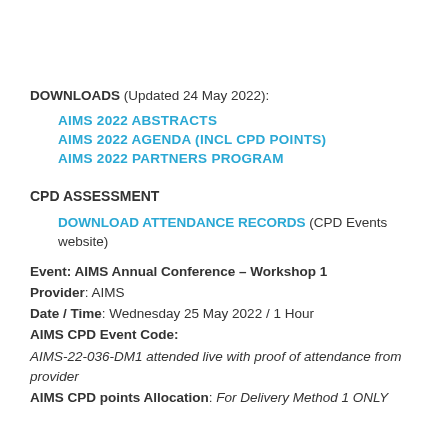DOWNLOADS (Updated 24 May 2022):
AIMS 2022 ABSTRACTS
AIMS 2022 AGENDA (INCL CPD POINTS)
AIMS 2022 PARTNERS PROGRAM
CPD ASSESSMENT
DOWNLOAD ATTENDANCE RECORDS (CPD Events website)
Event: AIMS Annual Conference – Workshop 1
Provider: AIMS
Date / Time: Wednesday 25 May 2022 / 1 Hour
AIMS CPD Event Code:
AIMS-22-036-DM1 attended live with proof of attendance from provider
AIMS CPD points Allocation: For Delivery Method 1 ONLY